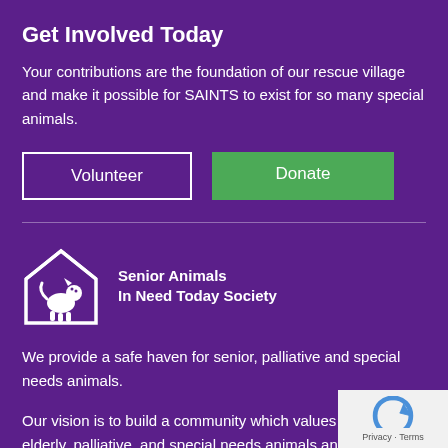Get Involved Today
Your contributions are the foundation of our rescue village and make it possible for SAINTS to exist for so many special animals.
[Figure (other): Two buttons: 'Volunteer' (white outline) and 'Donate' (green background)]
[Figure (logo): SAINTS logo: house icon with animal silhouette, text 'Senior Animals In Need Today Society']
We provide a safe haven for senior, palliative and special needs animals.
Our vision is to build a community which values the lives of elderly, palliative, and special needs animals and meets their needs through kindness and empathy.
[Figure (other): Google reCAPTCHA badge with privacy and terms links]